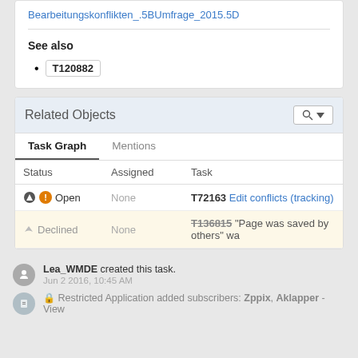Bearbeitungskonflikten_.5BUmfrage_2015.5D
See also
T120882
Related Objects
| Status | Assigned | Task |
| --- | --- | --- |
| Open | None | T72163 Edit conflicts (tracking) |
| Declined | None | T136815 "Page was saved by others" wa |
Lea_WMDE created this task.
Jun 2 2016, 10:45 AM
Restricted Application added subscribers: Zppix, Aklapper - View